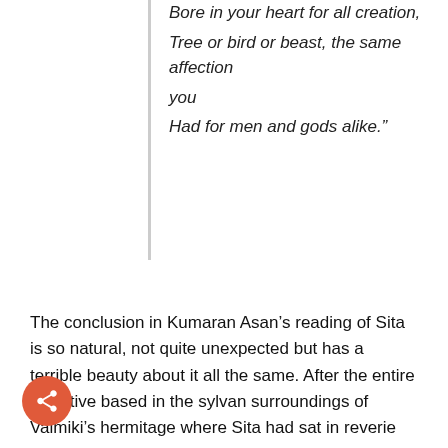Bore in your heart for all creation,
Tree or bird or beast, the same affection you
Had for men and gods alike."
The conclusion in Kumaran Asan's reading of Sita is so natural, not quite unexpected but has a terrible beauty about it all the same. After the entire narrative based in the sylvan surroundings of Valmiki's hermitage where Sita had sat in reverie comes to a conclusion, we enter the Court of Ayodhya for those few, last lines:
“Her comely head bent and eyes fastened on
The feet of the Sage conducting his precious